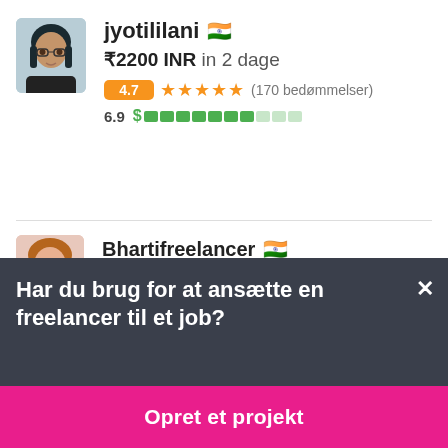[Figure (photo): Profile photo of jyotililani, a woman with dark hair wearing glasses and dark clothing]
jyotililani 🇮🇳
₹2200 INR in 2 dage
4.7 ★★★★★ (170 bedømmelser)
6.9 $ ████████░░░
[Figure (photo): Profile photo of Bhartifreelancer, a young woman]
Bhartifreelancer 🇮🇳
₹1500 INR á 1 dag
Har du brug for at ansætte en freelancer til et job?
Opret et projekt